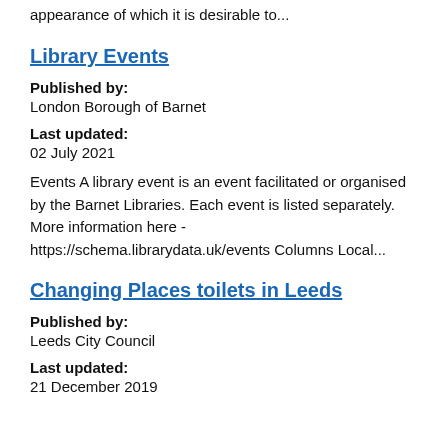appearance of which it is desirable to...
Library Events
Published by:
London Borough of Barnet
Last updated:
02 July 2021
Events A library event is an event facilitated or organised by the Barnet Libraries. Each event is listed separately. More information here - https://schema.librarydata.uk/events Columns Local...
Changing Places toilets in Leeds
Published by:
Leeds City Council
Last updated:
21 December 2019